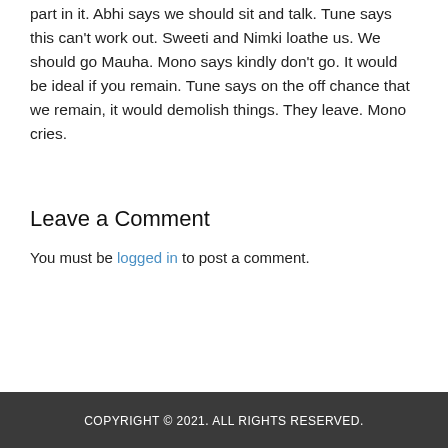part in it. Abhi says we should sit and talk. Tune says this can't work out. Sweeti and Nimki loathe us. We should go Mauha. Mono says kindly don't go. It would be ideal if you remain. Tune says on the off chance that we remain, it would demolish things. They leave. Mono cries.
Leave a Comment
You must be logged in to post a comment.
COPYRIGHT © 2021. ALL RIGHTS RESERVED.